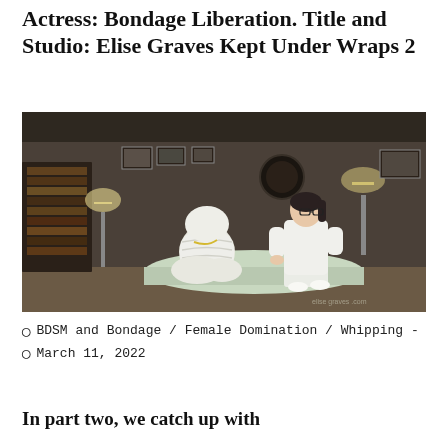Actress: Bondage Liberation. Title and Studio: Elise Graves Kept Under Wraps 2
[Figure (photo): A person wrapped head-to-toe in white fabric sitting cross-legged on a white padded surface, with a woman in a white dress and glasses sitting beside them. The setting is an interior room with bookshelves, lamps, and framed pictures on the wall.]
BDSM and Bondage / Female Domination / Whipping -
March 11, 2022
In part two, we catch up with